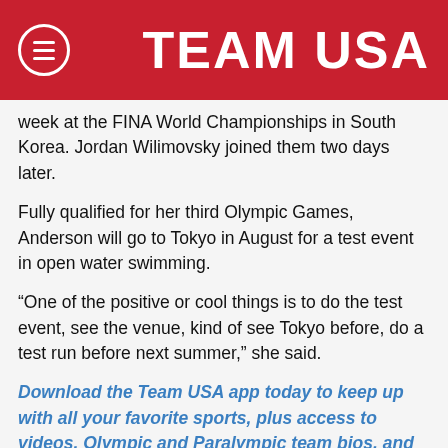TEAM USA
week at the FINA World Championships in South Korea. Jordan Wilimovsky joined them two days later.
Fully qualified for her third Olympic Games, Anderson will go to Tokyo in August for a test event in open water swimming.
“One of the positive or cool things is to do the test event, see the venue, kind of see Tokyo before, do a test run before next summer,” she said.
Download the Team USA app today to keep up with all your favorite sports, plus access to videos, Olympic and Paralympic team bios, and more.
Finbarr Kirwan, USORC vice president of summer sport